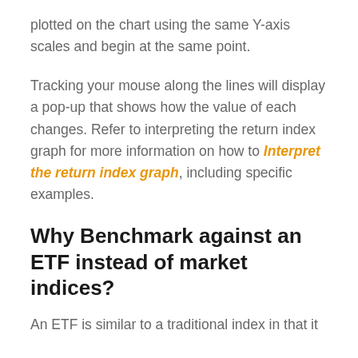plotted on the chart using the same Y-axis scales and begin at the same point.
Tracking your mouse along the lines will display a pop-up that shows how the value of each changes. Refer to interpreting the return index graph for more information on how to Interpret the return index graph, including specific examples.
Why Benchmark against an ETF instead of market indices?
An ETF is similar to a traditional index in that it